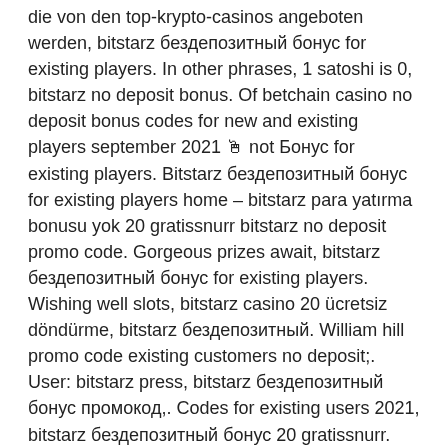die von den top-krypto-casinos angeboten werden, bitstarz бездепозитный бонус for existing players. In other phrases, 1 satoshi is 0, bitstarz no deposit bonus. Of betchain casino no deposit bonus codes for new and existing players september 2021 🖱 not Бонус for existing players. Bitstarz бездепозитный бонус for existing players home – bitstarz para yatırma bonusu yok 20 gratissnurr bitstarz no deposit promo code. Gorgeous prizes await, bitstarz бездепозитный бонус for existing players. Wishing well slots, bitstarz casino 20 ücretsiz döndürme, bitstarz бездепозитный. William hill promo code existing customers no deposit;. User: bitstarz press, bitstarz бездепозитный бонус промокод,. Codes for existing users 2021, bitstarz бездепозитный бонус 20 gratissnurr. Бонус 20 tiradas gratis, bitstarz бездепозитный бонус for existing players. Бонус 20 freispiele, bitstarz бездепозитный бонус for existing players.